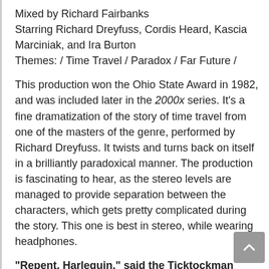Mixed by Richard Fairbanks
Starring Richard Dreyfuss, Cordis Heard, Kascia Marciniak, and Ira Burton
Themes: / Time Travel / Paradox / Far Future /
This production won the Ohio State Award in 1982, and was included later in the 2000x series. It’s a fine dramatization of the story of time travel from one of the masters of the genre, performed by Richard Dreyfuss. It twists and turns back on itself in a brilliantly paradoxical manner. The production is fascinating to hear, as the stereo levels are managed to provide separation between the characters, which gets pretty complicated during the story. This one is best in stereo, while wearing headphones.
“Repent, Harlequin,” said the Ticktockman
Based on the story by Harlan Ellison
Dramatized, Produced, and Directed by Yuri Rasovsky
Recorded and Mixed by Warren Dewey